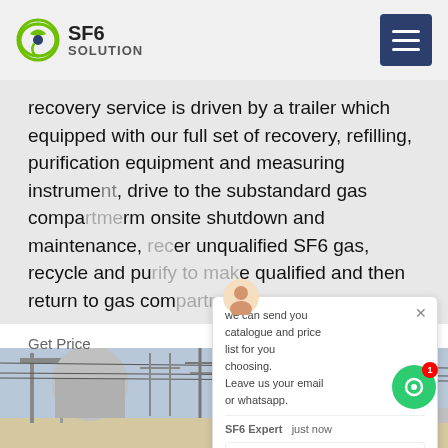SF6 SOLUTION
recovery service is driven by a trailer which equipped with our full set of recovery, refilling, purification equipment and measuring instrument, drive to the substandard gas compartment, perform onsite shutdown and maintenance, recover unqualified SF6 gas, recycle and purify to make qualified and then return to gas compartment.
Get Price
[Figure (photo): Substation with electrical equipment, yellow crane truck (ISUZU), high voltage switchgear, and power lines in background]
[Figure (screenshot): Chat popup overlay with message: we can send you catalogue and price list for you choosing. Leave us your email or whatsapp. SF6 Expert just now. Write.]